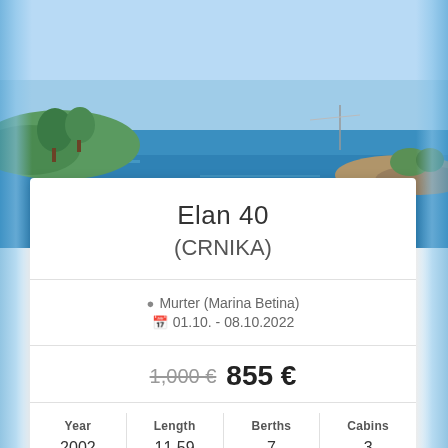[Figure (photo): Coastal scene with blue water, rocky shoreline, and green trees under a clear sky]
Elan 40
(CRNIKA)
Murter (Marina Betina)
01.10. - 08.10.2022
1,000 € 855 €
| Year | Length | Berths | Cabins |
| --- | --- | --- | --- |
| 2002 | 11.59 | 7 | 3 |
Book Now